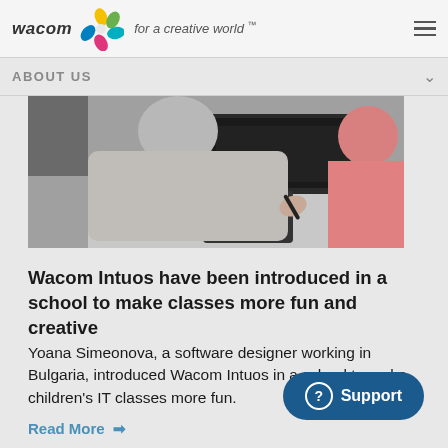wacom for a creative world™
ABOUT US
[Figure (photo): Children using a Wacom Intuos graphics tablet at a desk, with a laptop keyboard visible in the background. Two children are visible, one wearing a grey sweatshirt and the other wearing a pink top.]
Wacom Intuos have been introduced in a school to make classes more fun and creative
Yoana Simeonova, a software designer working in Bulgaria, introduced Wacom Intuos in a school to make children's IT classes more fun.
Read More